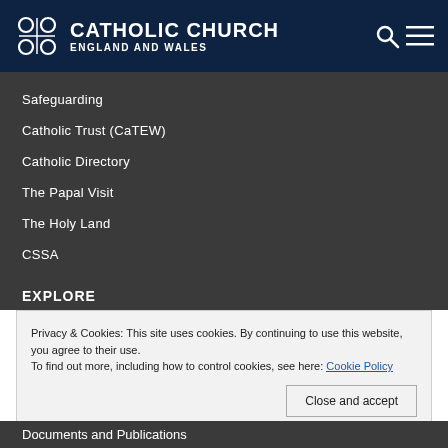CATHOLIC CHURCH ENGLAND AND WALES
Safeguarding
Catholic Trust (CaTEW)
Catholic Directory
The Papal Visit
The Holy Land
CSSA
EXPLORE
Privacy & Cookies: This site uses cookies. By continuing to use this website, you agree to their use.
To find out more, including how to control cookies, see here: Cookie Policy
Documents and Publications